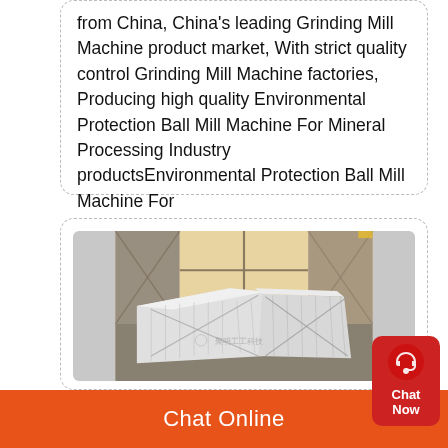from China, China's leading Grinding Mill Machine product market, With strict quality control Grinding Mill Machine factories, Producing high quality Environmental Protection Ball Mill Machine For Mineral Processing Industry productsEnvironmental Protection Ball Mill Machine For
[Figure (photo): Factory warehouse photo showing large industrial machinery or equipment wrapped in silver/white protective plastic sheeting, positioned on a factory floor with wooden crates visible in the background. A watermark reads '聚明工工科技'.]
Chat Online